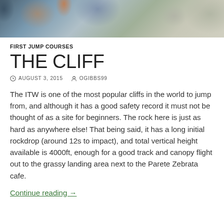[Figure (photo): People climbing or hiking on rocky terrain outdoors, banner photo at top of blog post]
FIRST JUMP COURSES
THE CLIFF
AUGUST 3, 2015   OGIBBS99
The ITW is one of the most popular cliffs in the world to jump from, and although it has a good safety record it must not be thought of as a site for beginners. The rock here is just as hard as anywhere else! That being said, it has a long initial rockdrop (around 12s to impact), and total vertical height available is 4000ft, enough for a good track and canopy flight out to the grassy landing area next to the Parete Zebrata cafe.
Continue reading →